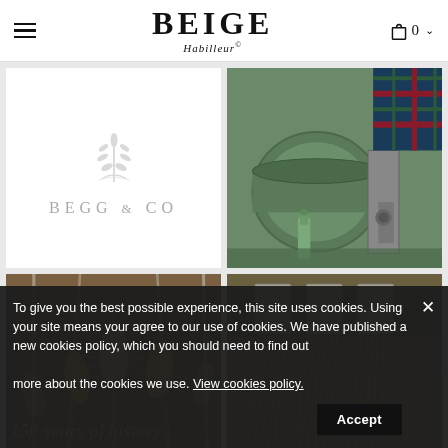BEIGE Habilleur® — Navigation Header
[Figure (logo): Begg & Co logo with wheat/leaf emblem in silver/grey and text BEGG & CO in spaced grey serif letters]
[Figure (photo): Industrial textile machinery, green metal milling/washing machine in a mill, with tartan fabric visible in background]
[Figure (photo): Close-up of teasel heads used in fabric finishing — spiky dried plant heads used in traditional woollen milling]
[Figure (photo): Textile threads/yarns being stretched on a loom, metallic coloured parallel threads under tension]
To give you the best possible experience, this site uses cookies. Using your site means your agree to our use of cookies. We have published a new cookies policy, which you should need to find out more about the cookies we use. View cookies policy.
150 years of history